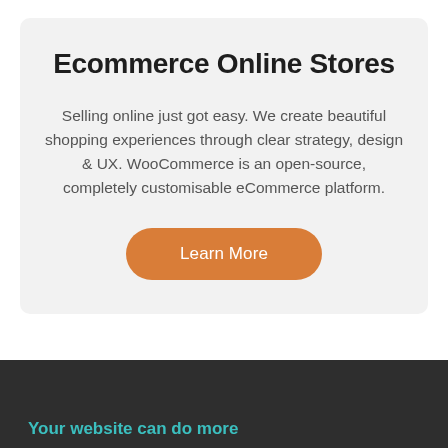Ecommerce Online Stores
Selling online just got easy. We create beautiful shopping experiences through clear strategy, design & UX. WooCommerce is an open-source, completely customisable eCommerce platform.
Learn More
Your website can do more